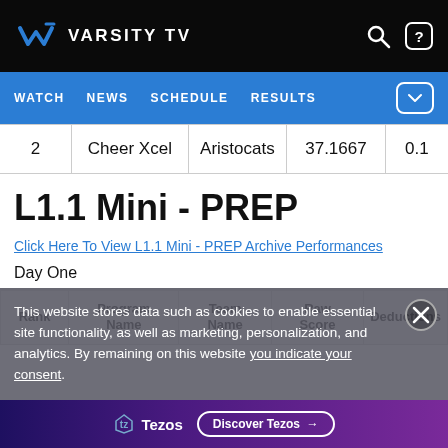VARSITY TV — WATCH | NEWS | SCHEDULE | RESULTS
|  | Cheer Xcel | Aristocats | 37.1667 | 0.1 |
| --- | --- | --- | --- | --- |
| 2 | Cheer Xcel | Aristocats | 37.1667 | 0.1 |
L1.1 Mini - PREP
Click Here To View L1.1 Mini - PREP Archive Performances
Day One
| Rank | Program Name | Team Name | Raw Score | Deductions |
| --- | --- | --- | --- | --- |